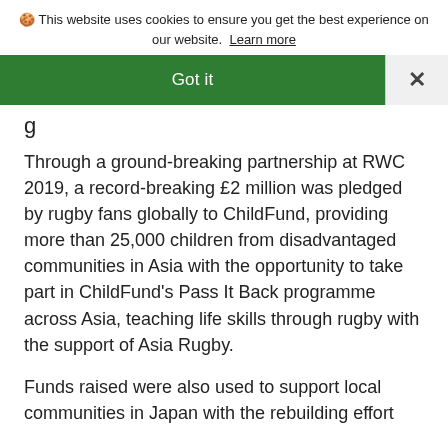🍪 This website uses cookies to ensure you get the best experience on our website. Learn more
Got it
×
g
Through a ground-breaking partnership at RWC 2019, a record-breaking £2 million was pledged by rugby fans globally to ChildFund, providing more than 25,000 children from disadvantaged communities in Asia with the opportunity to take part in ChildFund's Pass It Back programme across Asia, teaching life skills through rugby with the support of Asia Rugby.
Funds raised were also used to support local communities in Japan with the rebuilding effort